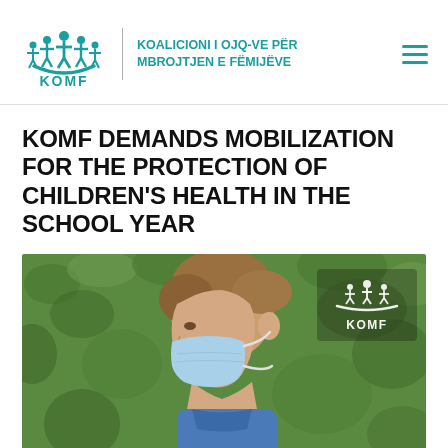KOMF — KOALICIONI I OJQ-VE PËR MBROJTJEN E FËMIJËVE
KOMF DEMANDS MOBILIZATION FOR THE PROTECTION OF CHILDREN'S HEALTH IN THE SCHOOL YEAR
[Figure (photo): A young boy in profile view wearing a blue face mask, with a green leafy background. KOMF logo watermark in upper right corner.]